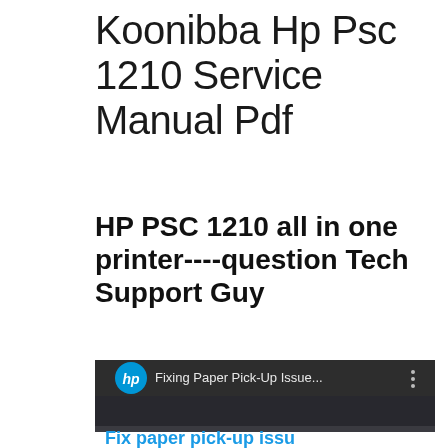Koonibba Hp Psc 1210 Service Manual Pdf
HP PSC 1210 all in one printer----question Tech Support Guy
[Figure (screenshot): YouTube video thumbnail showing HP logo with text 'Fixing Paper Pick-Up Issue...' and a three-dot menu icon, with a dark printer image below and partial blue text 'Fix paper pick-up issu' visible at the bottom]